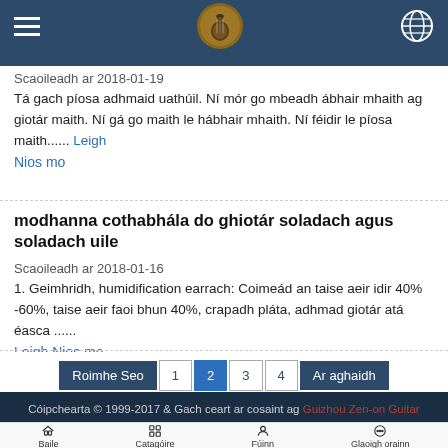Navigation header with hamburger menu, guitar logo, and globe icon
Scaoileadh ar 2018-01-19
Tá gach píosa adhmaid uathúil. Ní mór go mbeadh ábhair mhaith ag giotár maith. Ní gá go maith le hábhair mhaith. Ní féidir le píosa maith...... Leigh Nios mo
modhanna cothabhála do ghiotár soladach agus soladach uile
Scaoileadh ar 2018-01-16
1. Geimhridh, humidification earrach: Coimeád an taise aeir idir 40% -60%, taise aeir faoi bhun 40%, crapadh pláta, adhmad giotár atá éasca ......
Leigh Nios mo
Roimhe Seo 1 2 3 4 Ar aghaidh
Cóipchearta © 1999-2017 & Gach ceart ar cosaint ag Guizhou Zen-on Guitar Industrial Co., Ltd
Baile  Catagóire  Fúinn  Glaoigh orainn